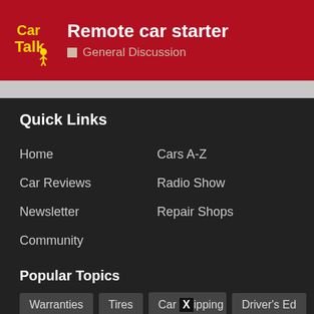Remote car starter — General Discussion
Quick Links
Home
Cars A-Z
Car Reviews
Radio Show
Newsletter
Repair Shops
Community
Popular Topics
Warranties
Tires
Car Shipping
Driver's Ed